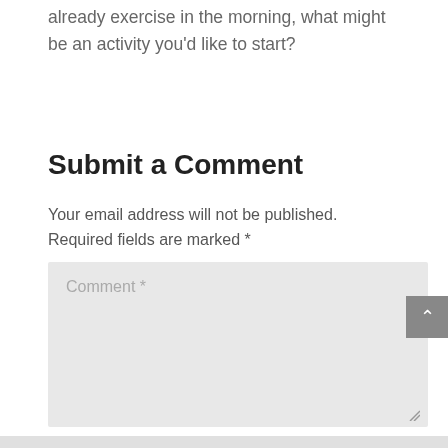already exercise in the morning, what might be an activity you'd like to start?
Submit a Comment
Your email address will not be published. Required fields are marked *